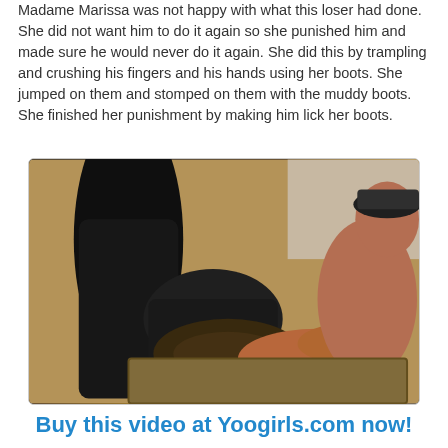Madame Marissa was not happy with what this loser had done. She did not want him to do it again so she punished him and made sure he would never do it again. She did this by trampling and crushing his fingers and his hands using her boots. She jumped on them and stomped on them with the muddy boots. She finished her punishment by making him lick her boots.
[Figure (photo): Photo showing a person in black boots standing on a mat while another shirtless person holds the boot, appearing to lick or clean it.]
Buy this video at Yoogirls.com now!